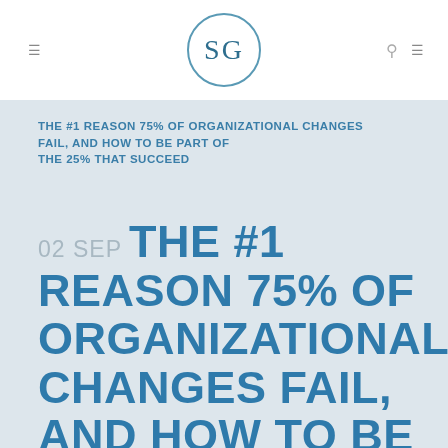[Figure (logo): SG logo in a circle, teal/blue color]
THE #1 REASON 75% OF ORGANIZATIONAL CHANGES FAIL, AND HOW TO BE PART OF THE 25% THAT SUCCEED
02 SEP THE #1 REASON 75% OF ORGANIZATIONAL CHANGES FAIL, AND HOW TO BE PART OF THE 25% THAT SUCCEED